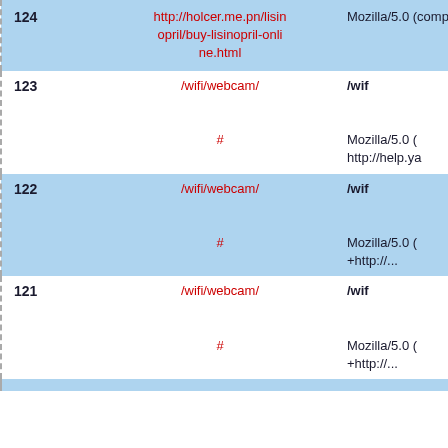| # | URL | Info |
| --- | --- | --- |
| 124 | http://holcer.me.pn/lisinopril/buy-lisinopril-online.html | Mozilla/5.0 (compatible... |
| 123 | /wifi/webcam/ | /wif...
#
Mozilla/5.0...
http://help.ya... |
| 122 | /wifi/webcam/ | /wif...
#
Mozilla/5.0...
+http://... |
| 121 | /wifi/webcam/ | /wif...
#
Mozilla/5.0...
+http://... |